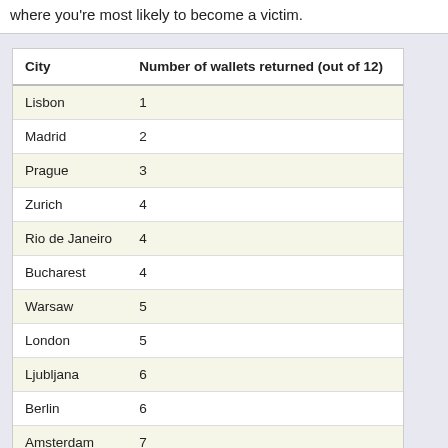where you're most likely to become a victim.
| City | Number of wallets returned (out of 12) |
| --- | --- |
| Lisbon | 1 |
| Madrid | 2 |
| Prague | 3 |
| Zurich | 4 |
| Rio de Janeiro | 4 |
| Bucharest | 4 |
| Warsaw | 5 |
| London | 5 |
| Ljubljana | 6 |
| Berlin | 6 |
| Amsterdam | 7 |
| Moscow | 7 |